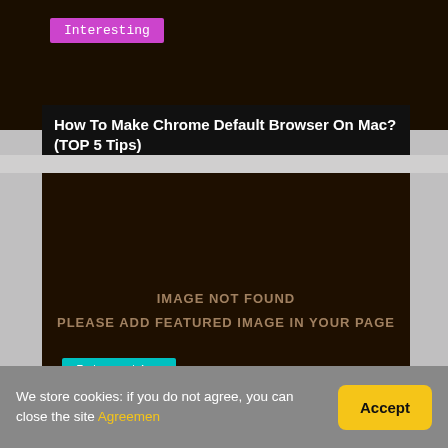Interesting
How To Make Chrome Default Browser On Mac? (TOP 5 Tips)
[Figure (other): Dark placeholder image with text 'IMAGE NOT FOUND PLEASE ADD FEATURED IMAGE IN YOUR PAGE']
Interesting
We store cookies: if you do not agree, you can close the site Agreemen
Accept